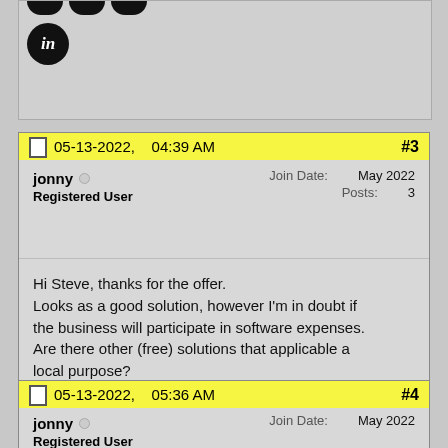[Figure (other): Partial view of previous forum post showing social share icons (Google+, Facebook, Twitter in a row, LinkedIn below) and grey post background, cropped at top of page]
05-13-2022,   04:39 AM  #3
jonny  Registered User  Join Date: May 2022  Posts: 3
Hi Steve, thanks for the offer.
Looks as a good solution, however I'm in doubt if the business will participate in software expenses.
Are there other (free) solutions that applicable a local purpose?
Reply With Quote
05-13-2022,   05:36 AM  #4
jonny  Registered User  Join Date: May 2022